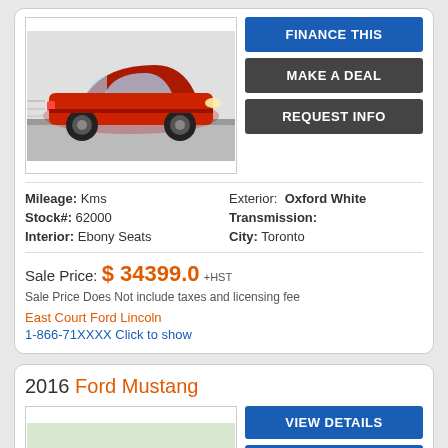[Figure (photo): Red Ford Mustang car driving on road, side view]
Mileage: Kms  Exterior: Oxford White
Stock#: 62000  Transmission:
Interior: Ebony Seats  City: Toronto
Sale Price: $ 34399.0 +HST
Sale Price Does Not include taxes and licensing fee
East Court Ford Lincoln
1-866-71XXXX Click to show
2016 Ford Mustang
[Figure (photo): Red Ford Mustang car driving on road, side view]